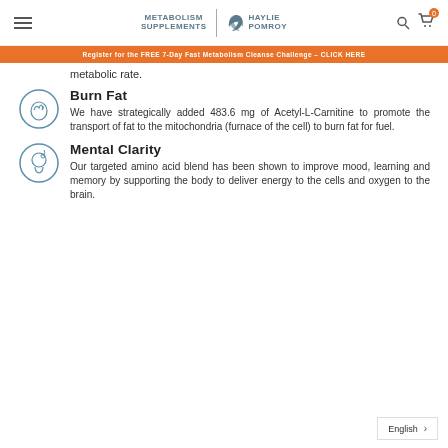METABOLISM SUPPLEMENTS | HAYLIE POMROY
Register for the FREE 7-Day Fast Metabolism Cleanse Challenge - CLICK HERE
metabolic rate.
Burn Fat
We have strategically added 483.6 mg of Acetyl-L-Carnitine to promote the transport of fat to the mitochondria (furnace of the cell) to burn fat for fuel.
Mental Clarity
Our targeted amino acid blend has been shown to improve mood, learning and memory by supporting the body to deliver energy to the cells and oxygen to the brain.
English